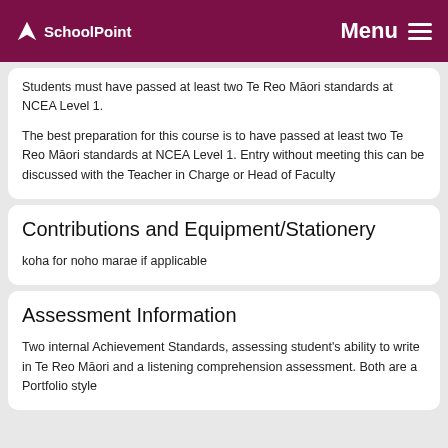SchoolPoint  Menu
Students must have passed at least two Te Reo Māori standards at NCEA Level 1.
The best preparation for this course is to have passed at least two Te Reo Māori standards at NCEA Level 1. Entry without meeting this can be discussed with the Teacher in Charge or Head of Faculty
Contributions and Equipment/Stationery
koha for noho marae if applicable
Assessment Information
Two internal Achievement Standards, assessing student's ability to write in Te Reo Māori and a listening comprehension assessment. Both are a Portfolio style